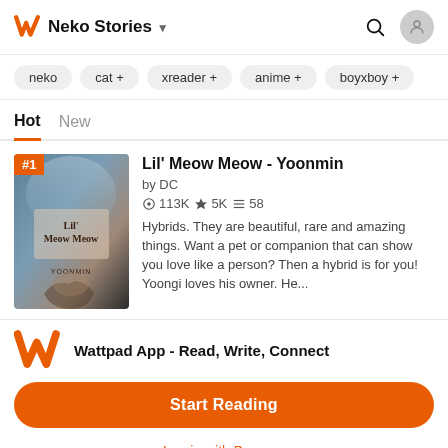Neko Stories
neko
cat +
xreader +
anime +
boyxboy +
Hot   New
[Figure (illustration): Book cover for 'Lil' Meow Meow - Yoonmin' with dark atmospheric background, text overlay reading 'Lil' Meow Meow' and 'Yoonmin', ranked #1]
Lil' Meow Meow - Yoonmin
by DC
113K ★5K ≡58
Hybrids. They are beautiful, rare and amazing things. Want a pet or companion that can show you love like a person? Then a hybrid is for you! Yoongi loves his owner. He...
Wattpad App - Read, Write, Connect
Start Reading
Log in with Browser